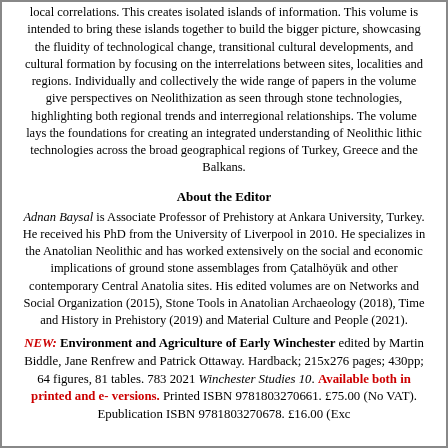local correlations. This creates isolated islands of information. This volume is intended to bring these islands together to build the bigger picture, showcasing the fluidity of technological change, transitional cultural developments, and cultural formation by focusing on the interrelations between sites, localities and regions. Individually and collectively the wide range of papers in the volume give perspectives on Neolithization as seen through stone technologies, highlighting both regional trends and interregional relationships. The volume lays the foundations for creating an integrated understanding of Neolithic lithic technologies across the broad geographical regions of Turkey, Greece and the Balkans.
About the Editor
Adnan Baysal is Associate Professor of Prehistory at Ankara University, Turkey. He received his PhD from the University of Liverpool in 2010. He specializes in the Anatolian Neolithic and has worked extensively on the social and economic implications of ground stone assemblages from Çatalhöyük and other contemporary Central Anatolia sites. His edited volumes are on Networks and Social Organization (2015), Stone Tools in Anatolian Archaeology (2018), Time and History in Prehistory (2019) and Material Culture and People (2021).
NEW: Environment and Agriculture of Early Winchester edited by Martin Biddle, Jane Renfrew and Patrick Ottaway. Hardback; 215x276 pages; 430pp; 64 figures, 81 tables. 783 2021 Winchester Studies 10. Available both in printed and e-versions. Printed ISBN 9781803270661. £75.00 (No VAT). Epublication ISBN 9781803270678. £16.00 (Exc